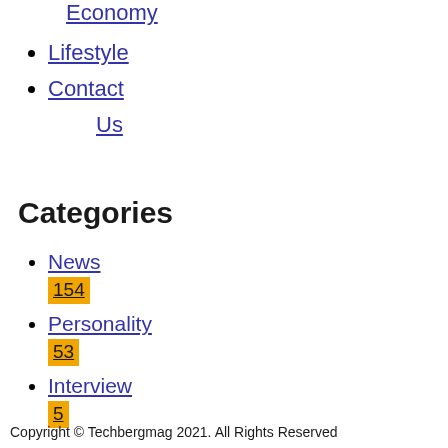Economy
Lifestyle
Contact Us
Categories
News 154
Personality 53
Interview 5
Copyright © Techbergmag 2021. All Rights Reserved